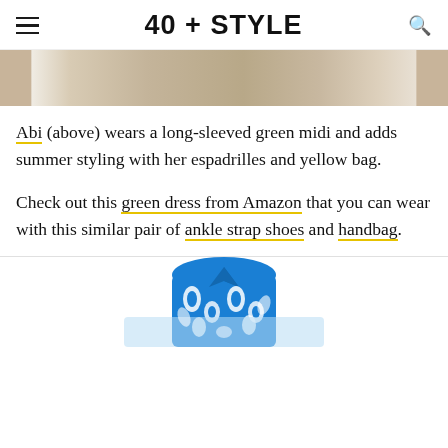40 + STYLE
[Figure (photo): Cropped bottom portion of a photo showing a wooden floor and someone's feet/legs wearing espadrilles]
Abi (above) wears a long-sleeved green midi and adds summer styling with her espadrilles and yellow bag.
Check out this green dress from Amazon that you can wear with this similar pair of ankle strap shoes and handbag.
[Figure (photo): Bottom portion of a blue floral patterned shirt/dress visible at the bottom of the page]